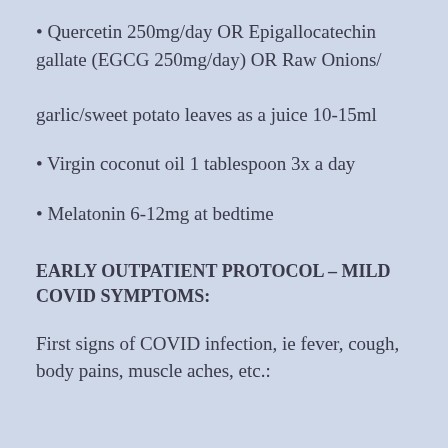Quercetin 250mg/day OR Epigallocatechin gallate (EGCG 250mg/day) OR Raw Onions/garlic/sweet potato leaves as a juice 10-15ml
Virgin coconut oil 1 tablespoon 3x a day
Melatonin 6-12mg at bedtime
EARLY OUTPATIENT PROTOCOL – MILD COVID SYMPTOMS:
First signs of COVID infection, ie fever, cough, body pains, muscle aches, etc.: